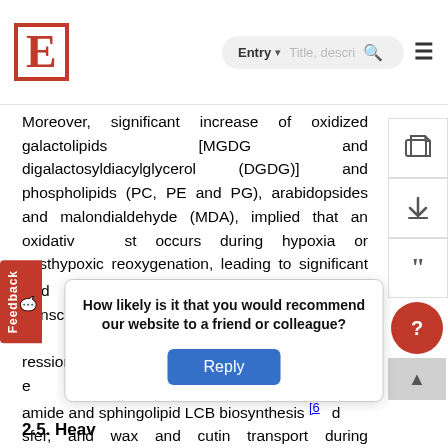E [logo] | Entry ▾ | Title, descri... [search] [≡]
Moreover, significant increase of oxidized galactolipids [MGDG and digalactosyldiacylglycerol (DGDG)] and phospholipids (PC, PE and PG), arabidopsides and malondialdehyde (MDA), implied that an oxidative burst occurs during hypoxia or posthypoxic reoxygenation, leading to significant lipid peroxidation [57][67][104]. In addition, transcriptomic analyses have shown changes in the expression of genes encoding proteins essential for ceramide and sphingolipid LCB biosynthesis [6] and transfer, and wax and cutin transport during submergence. Moreover, JA biosynthesis genes were enhanced in subm... oxylipins may mod... p n plants [10...
How likely is it that you would recommend our website to a friend or colleague?
Reply
2.5. Heavy